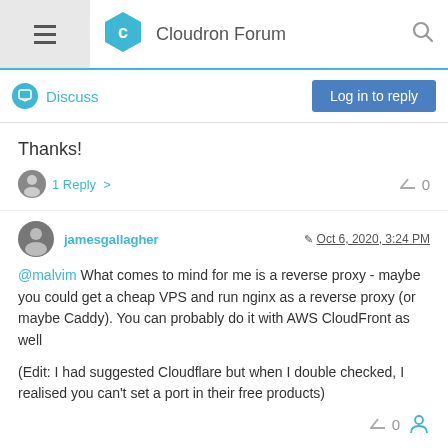Cloudron Forum
Discuss
Thanks!
1 Reply >   ^ 0
jamesgallagher  Oct 6, 2020, 3:24 PM
@malvim What comes to mind for me is a reverse proxy - maybe you could get a cheap VPS and run nginx as a reverse proxy (or maybe Caddy). You can probably do it with AWS CloudFront as well

(Edit: I had suggested Cloudflare but when I double checked, I realised you can't set a port in their free products)